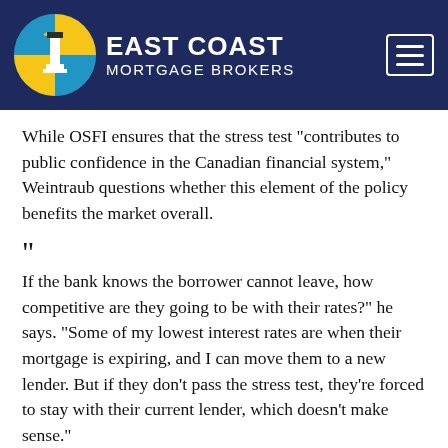EAST COAST MORTGAGE BROKERS
While OSFI ensures that the stress test “contributes to public confidence in the Canadian financial system,” Weintraub questions whether this element of the policy benefits the market overall.
“
If the bank knows the borrower cannot leave, how competitive are they going to be with their rates?” he says. “Some of my lowest interest rates are when their mortgage is expiring, and I can move them to a new lender. But if they don’t pass the stress test, they’re forced to stay with their current lender, which doesn’t make sense.”
Can I avoid the stress test?
If you’re a nervous test taker and want to sit out, then you do